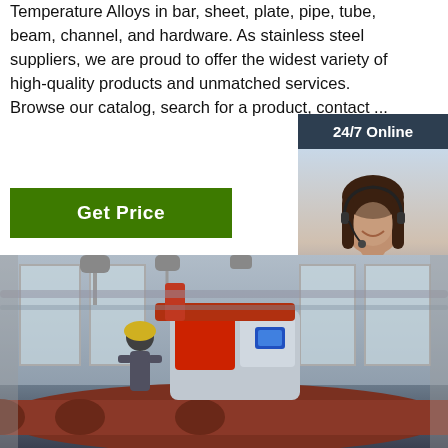Temperature Alloys in bar, sheet, plate, pipe, tube, beam, channel, and hardware. As stainless steel suppliers, we are proud to offer the widest variety of high-quality products and unmatched services. Browse our catalog, search for a product, contact ...
[Figure (photo): Woman with headset for 24/7 online chat support, shown in sidebar with dark navy background]
Get Price
24/7 Online
Click here for free chat !
QUOTATION
[Figure (photo): Industrial factory floor showing a large red and white CNC pipe welding or cutting machine operating on large rust-colored industrial pipes, with windows and ductwork visible in background]